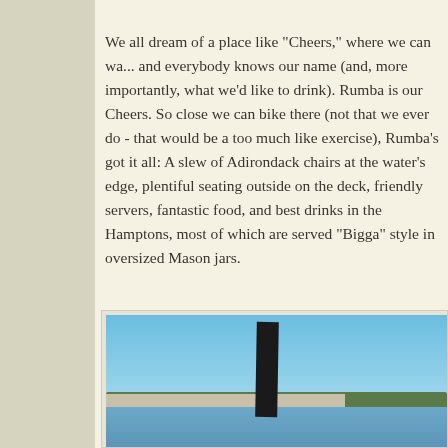We all dream of a place like "Cheers," where we can wa... and everybody knows our name (and, more importantly, what we'd like to drink). Rumba is our Cheers. So close we can bike there (not that we ever do - that would be a too much like exercise), Rumba's got it all: A slew of Adirondack chairs at the water's edge, plentiful seating outside on the deck, friendly servers, fantastic food, and best drinks in the Hamptons, most of which are served "Bigga" style in oversized Mason jars.
[Figure (photo): Outdoor photo showing a waterfront scene with blue sky, a dark vertical pole/post in the foreground, water, treeline, and buildings visible in the background.]